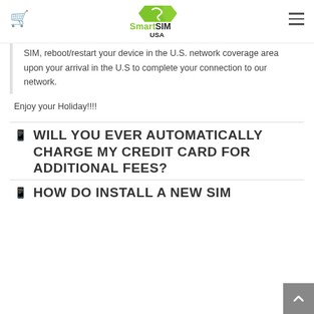SmartSIM USA
SIM, reboot/restart your device in the U.S. network coverage area upon your arrival in the U.S to complete your connection to our network.
Enjoy your Holiday!!!!
WILL YOU EVER AUTOMATICALLY CHARGE MY CREDIT CARD FOR ADDITIONAL FEES?
HOW DO INSTALL A NEW SIM